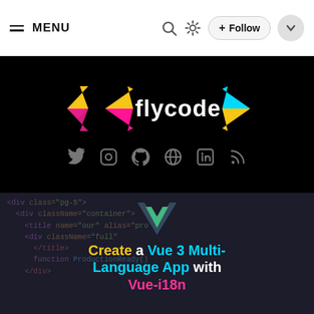≡ MENU  🔍  ☀  + Follow  ∨
[Figure (logo): flycode logo with colorful bracket symbols on black background with social media icons below (Twitter, Instagram, GitHub, Globe, LinkedIn, RSS)]
[Figure (illustration): Vue.js V logo in teal/green gradient over dark code editor background, with article title 'Create a Vue 3 Multi-Language App with Vue-i18n' in yellow, cyan and white/pink bold text]